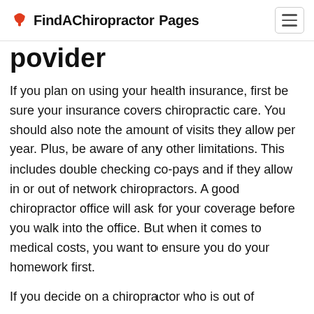FindAChiropractor Pages
povider
If you plan on using your health insurance, first be sure your insurance covers chiropractic care. You should also note the amount of visits they allow per year. Plus, be aware of any other limitations. This includes double checking co-pays and if they allow in or out of network chiropractors. A good chiropractor office will ask for your coverage before you walk into the office. But when it comes to medical costs, you want to ensure you do your homework first.
If you decide on a chiropractor who is out of